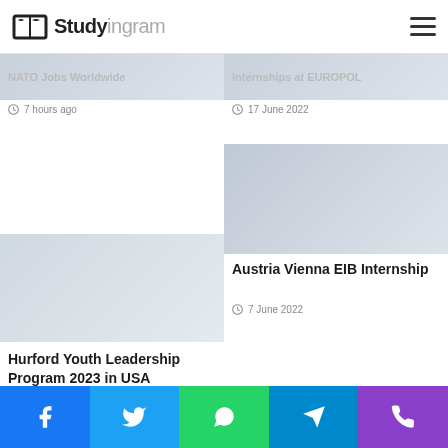Studyingram
NATO Jobs Worldwide
7 hours ago
Internships at EUROPOL
17 June 2022
[Figure (photo): EIB internship image placeholder]
Austria Vienna EIB Internship
7 June 2022
[Figure (photo): Hurford Youth Leadership Program image placeholder]
Hurford Youth Leadership Program 2023 in USA
9 June 2022
Facebook Twitter WhatsApp Telegram Phone